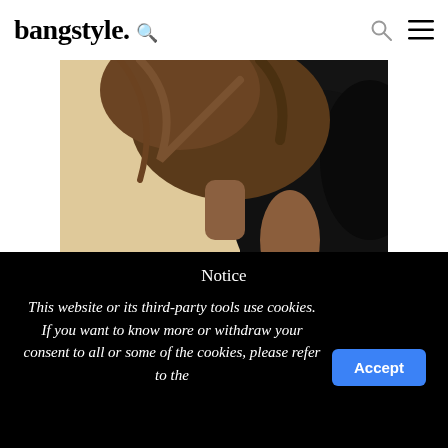bangstyle.
[Figure (photo): Close-up photo of a person with voluminous hair wearing a black top, against a beige background — illustrating the Bardot Bump hairstyle trend.]
Now Trending: The Bardot Bump
Notice
This website or its third-party tools use cookies. If you want to know more or withdraw your consent to all or some of the cookies, please refer to the